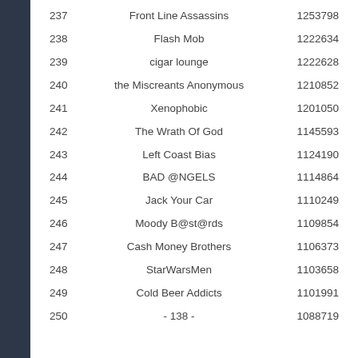| Rank | Name | Score |
| --- | --- | --- |
| 237 | Front Line Assassins | 1253798 |
| 238 | Flash Mob | 1222634 |
| 239 | cigar lounge | 1222628 |
| 240 | the Miscreants Anonymous | 1210852 |
| 241 | Xenophobic | 1201050 |
| 242 | The Wrath Of God | 1145593 |
| 243 | Left Coast Bias | 1124190 |
| 244 | BAD @NGELS | 1114864 |
| 245 | Jack Your Car | 1110249 |
| 246 | Moody B@st@rds | 1109854 |
| 247 | Cash Money Brothers | 1106373 |
| 248 | StarWarsMen | 1103658 |
| 249 | Cold Beer Addicts | 1101991 |
| 250 | - 138 - | 1088719 |